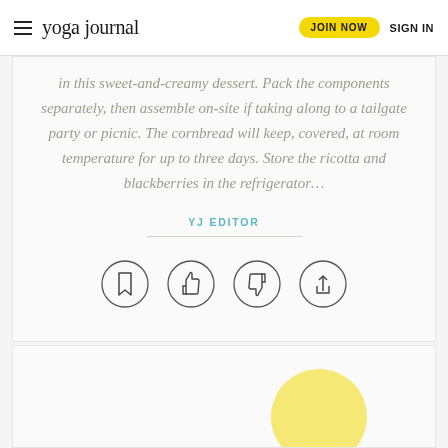yoga journal | JOIN NOW | SIGN IN
in this sweet-and-creamy dessert. Pack the components separately, then assemble on-site if taking along to a tailgate party or picnic. The cornbread will keep, covered, at room temperature for up to three days. Store the ricotta and blackberries in the refrigerator...
YJ EDITOR
[Figure (other): Four circular icon buttons: bookmark, thumbs up, thumbs down, share]
[Figure (other): Bottom card with partially visible yellow circle element]